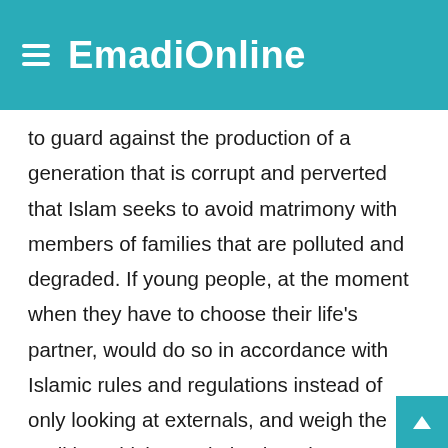EmadiOnline
to guard against the production of a generation that is corrupt and perverted that Islam seeks to avoid matrimony with members of families that are polluted and degraded. If young people, at the moment when they have to choose their life's partner, would do so in accordance with Islamic rules and regulations instead of only looking at externals, and weigh the realities which are vital to happiness, setting aside false thinking inspired by polluted passions that so swiftly pass, there is no doubt that the unhappiness and family disasters brought on family life by the devotees of sexual freedom and permissiveness would all very rapidly